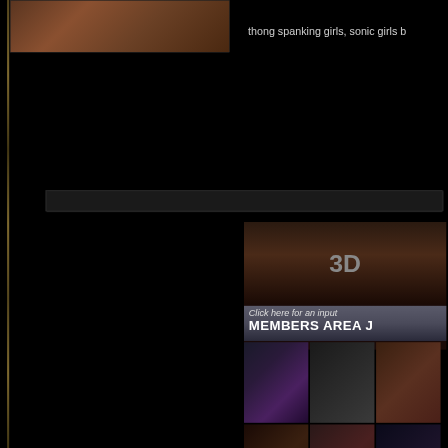[Figure (screenshot): Dark webpage with black background, golden left border strip, partial image in top left, text link area, search bar, adult 3D art website advertisement banner with figures, members area button, and thumbnail grid of 3D rendered figures]
thong spanking girls, sonic girls b
[Figure (photo): 3D rendered adult figures in dark scene, '3D' logo text visible, polaroid-style inset photos]
Click here for an input
MEMBERS AREA J